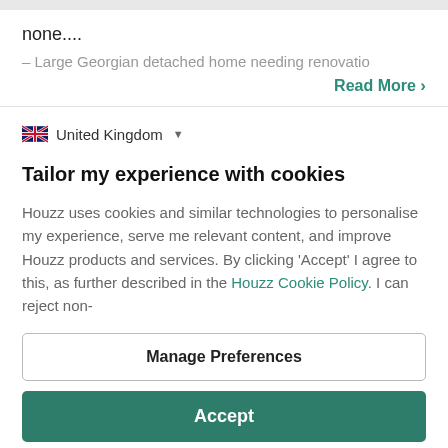none....
– Large Georgian detached home needing renovatio
Read More >
United Kingdom
Tailor my experience with cookies
Houzz uses cookies and similar technologies to personalise my experience, serve me relevant content, and improve Houzz products and services. By clicking 'Accept' I agree to this, as further described in the Houzz Cookie Policy. I can reject non-
Manage Preferences
Accept